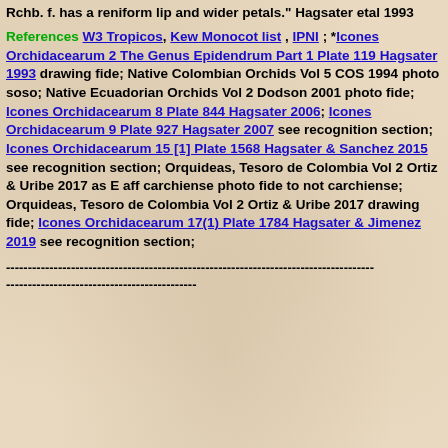Rchb. f. has a reniform lip and wider petals." Hagsater etal 1993
References W3 Tropicos, Kew Monocot list , IPNI ; *Icones Orchidacearum 2 The Genus Epidendrum Part 1 Plate 119 Hagsater 1993 drawing fide; Native Colombian Orchids Vol 5 COS 1994 photo soso; Native Ecuadorian Orchids Vol 2 Dodson 2001 photo fide; Icones Orchidacearum 8 Plate 844 Hagsater 2006; Icones Orchidacearum 9 Plate 927 Hagsater 2007 see recognition section; Icones Orchidacearum 15 [1] Plate 1568 Hagsater & Sanchez 2015 see recognition section; Orquideas, Tesoro de Colombia Vol 2 Ortiz & Uribe 2017 as E aff carchiense photo fide to not carchiense; Orquideas, Tesoro de Colombia Vol 2 Ortiz & Uribe 2017 drawing fide; Icones Orchidacearum 17(1) Plate 1784 Hagsater & Jimenez 2019 see recognition section;
-------------------------------------------------------------------------------------
--------------------------------------------